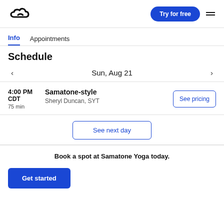Logo | Try for free | Menu
Info | Appointments
Schedule
Sun, Aug 21
4:00 PM CDT 75 min | Samatone-style | Sheryl Duncan, SYT | See pricing
See next day
Book a spot at Samatone Yoga today.
Get started